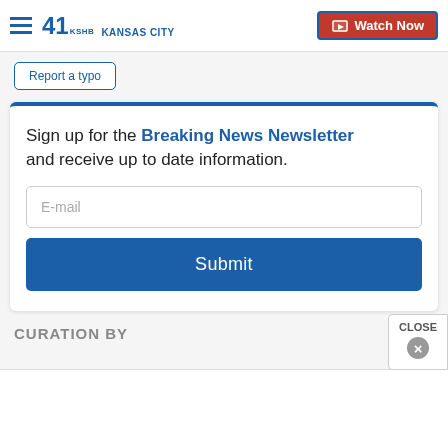41 KSHB KANSAS CITY — Watch Now
Report a typo
Sign up for the Breaking News Newsletter and receive up to date information.
E-mail
Submit
CURATION BY
CLOSE